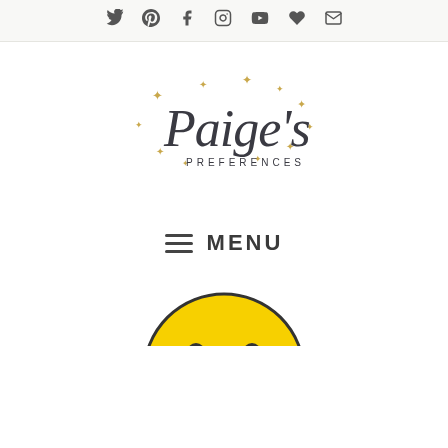Social media icons bar: Twitter, Pinterest, Facebook, Instagram, YouTube, Heart, Email
[Figure (logo): Paige's Preferences blog logo in cursive script with gold sparkle/star decorations and 'PREFERENCES' in small caps underneath]
≡ MENU
[Figure (photo): Partial view of a yellow smiley face emoji or balloon at the bottom of the page]